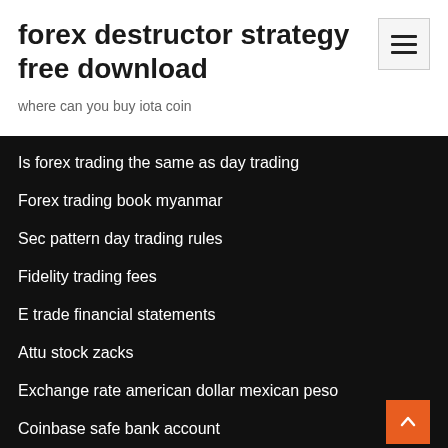forex destructor strategy free download
where can you buy iota coin
Is forex trading the same as day trading
Forex trading book myanmar
Sec pattern day trading rules
Fidelity trading fees
E trade financial statements
Attu stock zacks
Exchange rate american dollar mexican peso
Coinbase safe bank account
Forex non farm payroll strategy